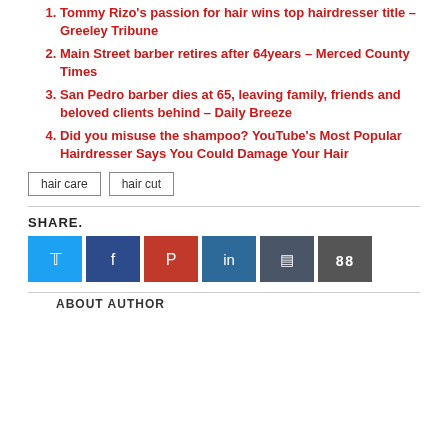Tommy Rizo's passion for hair wins top hairdresser title – Greeley Tribune
Main Street barber retires after 64years – Merced County Times
San Pedro barber dies at 65, leaving family, friends and beloved clients behind – Daily Breeze
Did you misuse the shampoo? YouTube's Most Popular Hairdresser Says You Could Damage Your Hair
hair care   hair cut
SHARE.
[Figure (other): Six social media share icon buttons: Twitter (light blue), Facebook (dark blue), Pinterest (red), LinkedIn (steel blue), another dark icon, and a grid/apps icon]
ABOUT AUTHOR